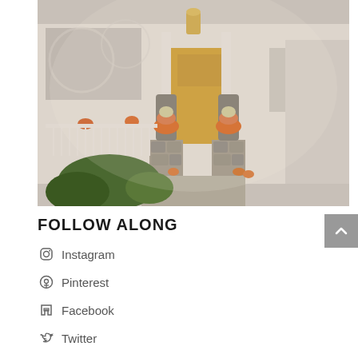[Figure (photo): A house front porch decorated for autumn/fall with stacked pumpkins in tall gray urns on stone pillars, a yellow/golden front door, white siding, porch with rocking chairs, and lush green plants in the foreground.]
FOLLOW ALONG
Instagram
Pinterest
Facebook
Twitter